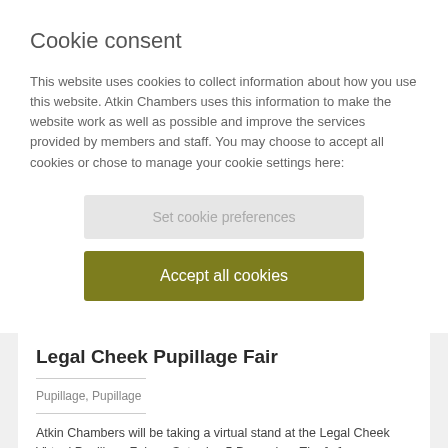Cookie consent
This website uses cookies to collect information about how you use this website. Atkin Chambers uses this information to make the website work as well as possible and improve the services provided by members and staff. You may choose to accept all cookies or chose to manage your cookie settings here:
Set cookie preferences
Accept all cookies
Legal Cheek Pupillage Fair
Pupillage, Pupillage
Atkin Chambers will be taking a virtual stand at the Legal Cheek Virtual Pupillage Fair on Saturday 5 December. The [...]